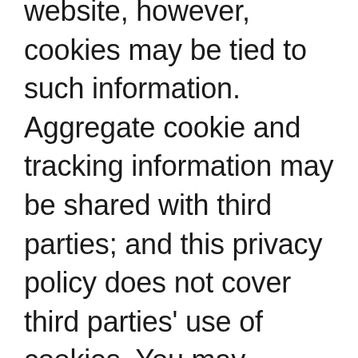website, however, cookies may be tied to such information. Aggregate cookie and tracking information may be shared with third parties; and this privacy policy does not cover third parties' use of cookies. You may configure your device to limit or prevent access by cookies, such as to notify you when you receive a cookie, to block all cookies, or to delete existing cookies.